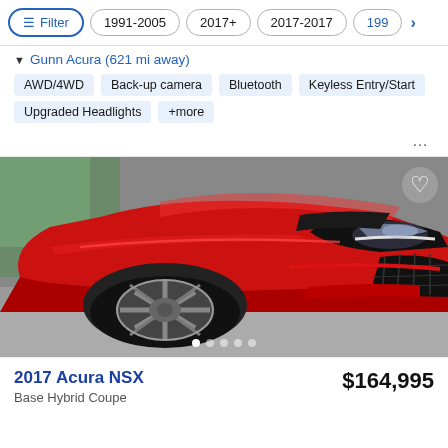Filter | 1991-2005 | 2017+ | 2017-2017 | 199›
▼ Gunn Acura (621 mi away)
AWD/4WD   Back-up camera   Bluetooth   Keyless Entry/Start   Upgraded Headlights   +more
[Figure (photo): Close-up front-quarter photo of a red 2017 Acura NSX sports car showing the wheel, headlight, and front grille area. A white heart (favorite) icon is in the top-right corner. Five dot pagination indicators are at the bottom.]
2017 Acura NSX
Base Hybrid Coupe
$164,995